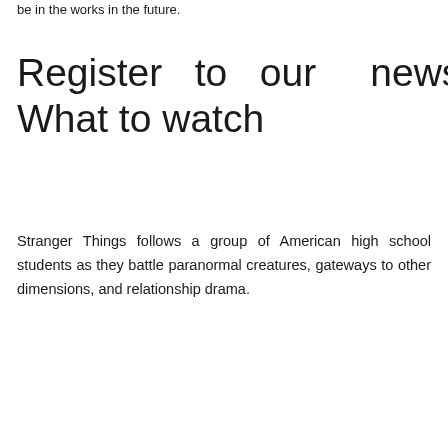be in the works in the future.
Register to our newsletter What to watch
Stranger Things follows a group of American high school students as they battle paranormal creatures, gateways to other dimensions, and relationship drama.